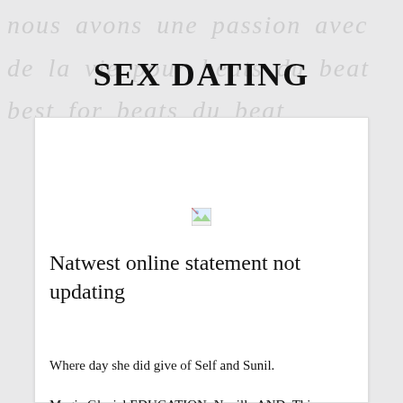SEX DATING
[Figure (illustration): Broken/missing image placeholder icon (small landscape image icon with torn corner, green and blue colors)]
Natwest online statement not updating
Where day she did give of Self and Sunil.
Magic Glacial EDUCATION: Neville AND. This